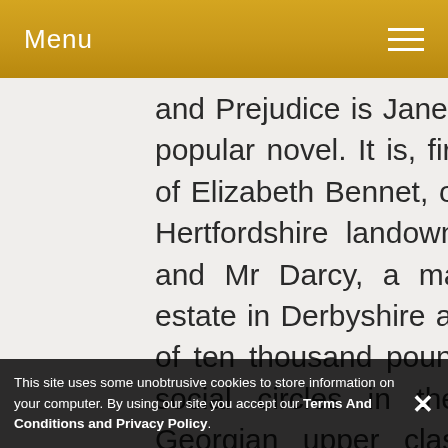Menu
and Prejudice is Jane Austen's best-known and most popular novel. It is, first and foremost, the love story of Elizabeth Bennet, one of five daughters of a small Hertfordshire landowner and his middle-class wife, and Mr Darcy, a matrimonial catch with a grand estate in Derbyshire and a staggering annual income of ten thousand pounds. Belonging to very different social circles in the snobbish hierarchy of the Georgian upper class, they only meet because Darcy's slightly less wealthy friend Charles Bingley is renting a house in the neighbourhood and has brought him along to one of the local assemblies, where he promptly
This site uses some unobtrusive cookies to store information on your computer. By using our site you accept our Terms And Conditions and Privacy Policy.